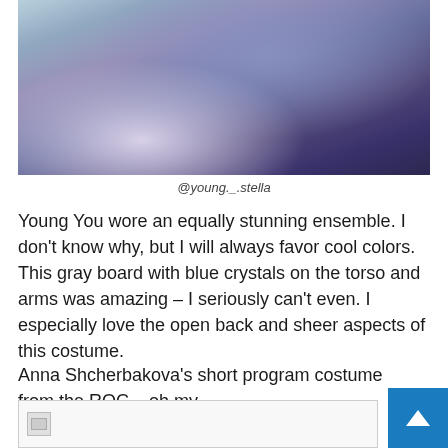[Figure (photo): Figure skater in a gray/purple crystal-decorated costume performing on ice, bending backwards with arms extended.]
@young._.stella
Young You wore an equally stunning ensemble. I don't know why, but I will always favor cool colors. This gray board with blue crystals on the torso and arms was amazing – I seriously can't even. I especially love the open back and sheer aspects of this costume.
Anna Shcherbakova's short program costume from the ROC – oh my.
[Figure (photo): Partially loaded or broken image thumbnail at the bottom of the page.]